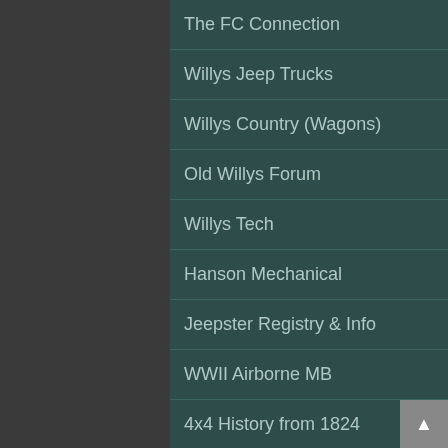The FC Connection
OffRoad Action Site
Willys Jeep Trucks
This Old Jeep
Willys Country (Wagons)
Bram Van Buuren Jeeps
Old Willys Forum
Paratrooper Vehicles
Willys Tech
Jeepster Club
Hanson Mechanical
Hungarian Jeep Website
Jeepster Registry & Info
Long Range Desert Group
WWII Airborne MB
4x4 History from 1824
Alex's Jp History Tahiti
Jeep website in France
Manuals at Archive.org
Military Vehicle PS
Jeep Truck
Wildenberg Parts
Jeep Willys World